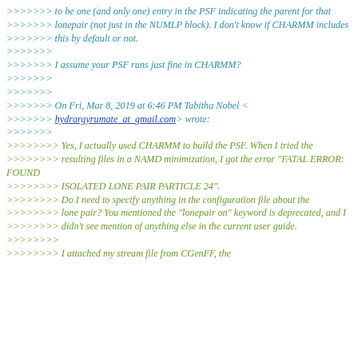>>>>>>> to be one (and only one) entry in the PSF indicating the parent for that
>>>>>>> lonepair (not just in the NUMLP block). I don't know if CHARMM includes
>>>>>>> this by default or not.
>>>>>>>
>>>>>>> I assume your PSF runs just fine in CHARMM?
>>>>>>>
>>>>>>>
>>>>>>> On Fri, Mar 8, 2019 at 6:46 PM Tabitha Nobel < >>>>>>> hydrargyrumate_at_gmail.com> wrote:
>>>>>>>
>>>>>>>> Yes, I actually used CHARMM to build the PSF. When I tried the
>>>>>>>> resulting files in a NAMD minimization, I got the error "FATAL ERROR: FOUND
>>>>>>>> ISOLATED LONE PAIR PARTICLE 24".
>>>>>>>> Do I need to specify anything in the configuration file about the
>>>>>>>> lone pair? You mentioned the "lonepair on" keyword is deprecated, and I
>>>>>>>> didn't see mention of anything else in the current user guide.
>>>>>>>>
>>>>>>>> I attached my stream file from CGenFF, the